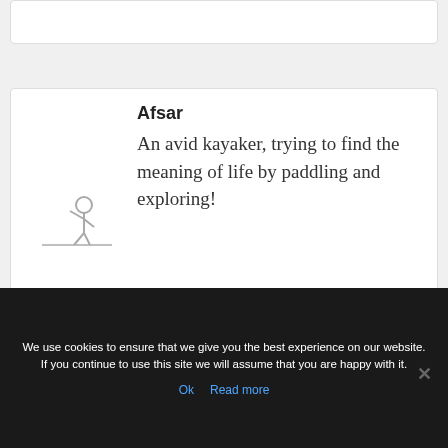[Figure (illustration): Author avatar with a silhouette figure of a person]
Afsar
An avid kayaker, trying to find the meaning of life by paddling and exploring!
We use cookies to ensure that we give you the best experience on our website. If you continue to use this site we will assume that you are happy with it.
Ok   Read more